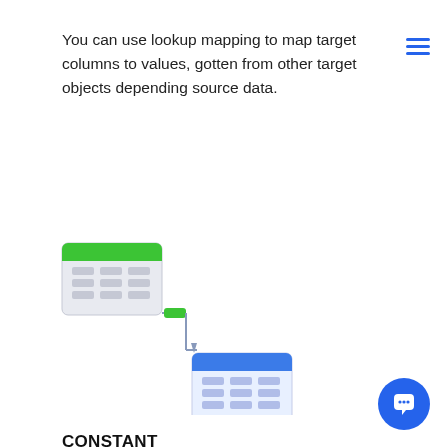You can use lookup mapping to map target columns to values, gotten from other target objects depending source data.
[Figure (infographic): Diagram showing two database/table icons connected by an arrow. The top-left icon has a green header bar representing a source table. An arrow points down-right to a second icon with a blue header bar representing a target table, illustrating lookup mapping between objects.]
CONSTANT
When integrating data, you can fill some SugarCRM fields that don't have corresponding Greenhouse fields (or vice versa) with constant values.